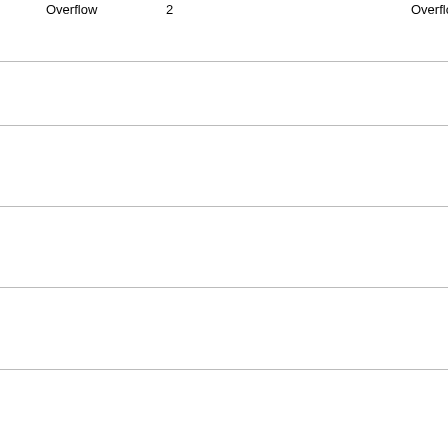Overflow  2
Buffer overflow in uucp utilities in UnixWare 7 allows local users to gain privileges via a long string to (1) uucp, (2) uux, (3) uuxqt, (4) uucico, (5) uuxcmd, or (6) uuxqt.
24 CVE-2001-1163  Exec Code 2  Overflow 1
Buffer overflow in Munica Corporation NetSQL 1.0 allows...
25 CVE-2001-1162  Dir. Trav.  2  2
Directory traversal vulnerability in the %m macro in the s... NETBIOS name, which is used as the name for a .log file
26 CVE-2001-1160  Exec Code  2  1
udirectory.pl in Microburst Technologies uDirectory 2.0 a... field.
27 CVE-2001-1148  Overflow +Priv 2  1
Multiple buffer overflows in programs used by scoadmin... environment variable to (1) atcronsh, (2) auditsh, (3) auth
28 CVE-2001-1088  2  0
Microsoft Outlook 8.5 and earlier, and Outlook Express 5... user when the "Reply-To" address is different than the "F... from the client that is intended for another user.